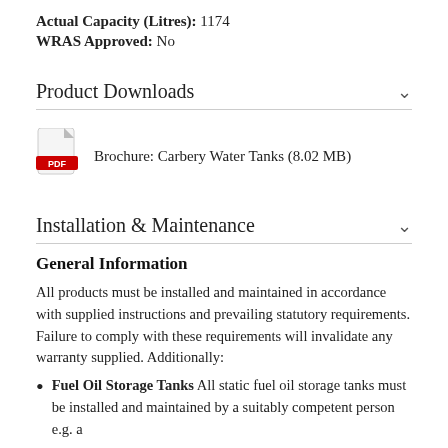Actual Capacity (Litres): 1174
WRAS Approved: No
Product Downloads
[Figure (other): PDF icon (red Adobe-style PDF document icon)]
Brochure: Carbery Water Tanks (8.02 MB)
Installation & Maintenance
General Information
All products must be installed and maintained in accordance with supplied instructions and prevailing statutory requirements. Failure to comply with these requirements will invalidate any warranty supplied. Additionally:
Fuel Oil Storage Tanks All static fuel oil storage tanks must be installed and maintained by a suitably competent person e.g. a